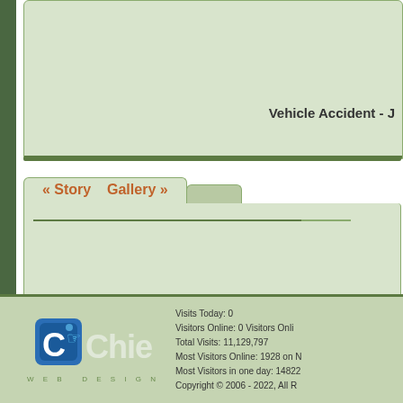Vehicle Accident - J
« Story    Gallery »
Grass Fire Upg
«  1  3  4  5  6  7  8  9  10  11  12  13  14
[Figure (logo): Chief Web Design logo with blue/white C icon and 'Chief' text and 'WEB DESIGN' below]
Visits Today: 0
Visitors Online: 0 Visitors Onli
Total Visits: 11,129,797
Most Visitors Online: 1928 on N
Most Visitors in one day: 14822
Copyright © 2006 - 2022, All R